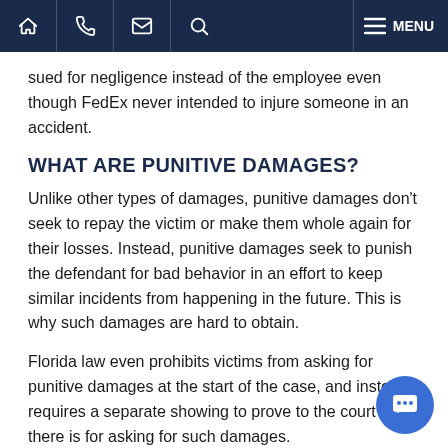Navigation bar with home, phone, email, search, and menu icons
sued for negligence instead of the employee even though FedEx never intended to injure someone in an accident.
WHAT ARE PUNITIVE DAMAGES?
Unlike other types of damages, punitive damages don’t seek to repay the victim or make them whole again for their losses. Instead, punitive damages seek to punish the defendant for bad behavior in an effort to keep similar incidents from happening in the future. This is why such damages are hard to obtain.
Florida law even prohibits victims from asking for punitive damages at the start of the case, and instead, requires a separate showing to prove to the court that there is for asking for such damages.